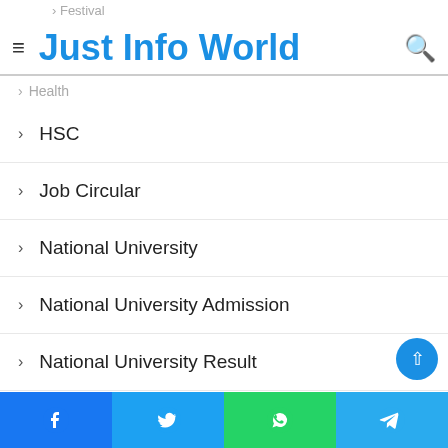Just Info World
Festival
Health
HSC
Job Circular
National University
National University Admission
National University Result
National University Routine
Question Solution
Question Solve
Question Solve
Result
Result
Facebook | Twitter | WhatsApp | Telegram